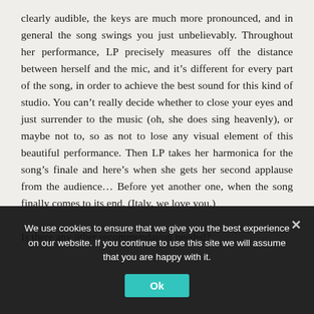clearly audible, the keys are much more pronounced, and in general the song swings you just unbelievably. Throughout her performance, LP precisely measures off the distance between herself and the mic, and it's different for every part of the song, in order to achieve the best sound for this kind of studio. You can't really decide whether to close your eyes and just surrender to the music (oh, she does sing heavenly), or maybe not to, so as not to lose any visual element of this beautiful performance. Then LP takes her harmonica for the song's finale and here's when she gets her second applause from the audience… Before yet another one, when the song finally comes to its end. (Italy, we love you.)
Is there any other recommendation needed?
We use cookies to ensure that we give you the best experience on our website. If you continue to use this site we will assume that you are happy with it.